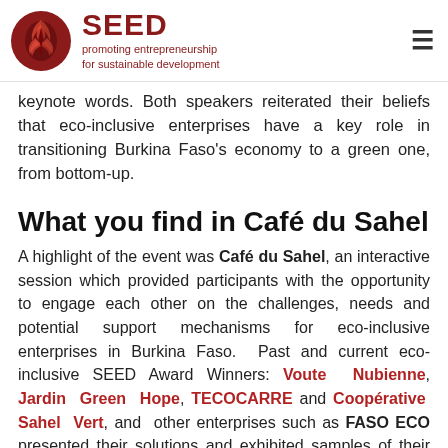SEED promoting entrepreneurship for sustainable development
keynote words. Both speakers reiterated their beliefs that eco-inclusive enterprises have a key role in transitioning Burkina Faso's economy to a green one, from bottom-up.
What you find in Café du Sahel
A highlight of the event was Café du Sahel, an interactive session which provided participants with the opportunity to engage each other on the challenges, needs and potential support mechanisms for eco-inclusive enterprises in Burkina Faso. Past and current eco-inclusive SEED Award Winners: Voute Nubienne, Jardin Green Hope, TECOCARRE and Coopérative Sahel Vert, and other enterprises such as FASO ECO presented their solutions and exhibited samples of their products.